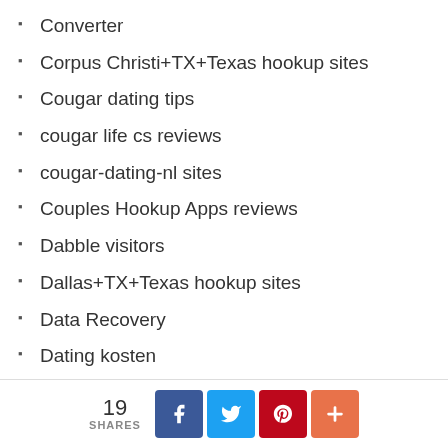Converter
Corpus Christi+TX+Texas hookup sites
Cougar dating tips
cougar life cs reviews
cougar-dating-nl sites
Couples Hookup Apps reviews
Dabble visitors
Dallas+TX+Texas hookup sites
Data Recovery
Dating kosten
Dating Over 50 hookup
dating-de visitors
Dating.com review
Dating.com visitors
Datingreviewer.net cs search
19 SHARES